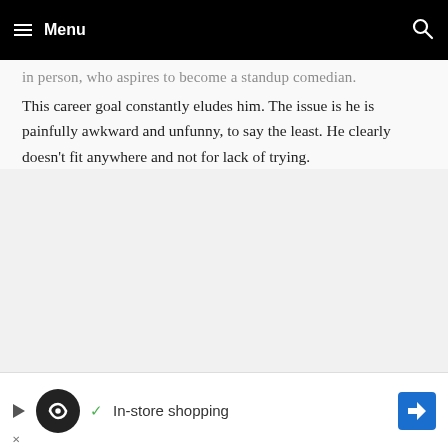Menu
in person, who aspires to become a standup comedian. This career goal constantly eludes him. The issue is he is painfully awkward and unfunny, to say the least. He clearly doesn't fit anywhere and not for lack of trying.
[Figure (other): Advertisement banner: play button, circular black logo with infinity symbol, green checkmark, 'In-store shopping' text, blue diamond-shaped navigation icon, and close button (X)]